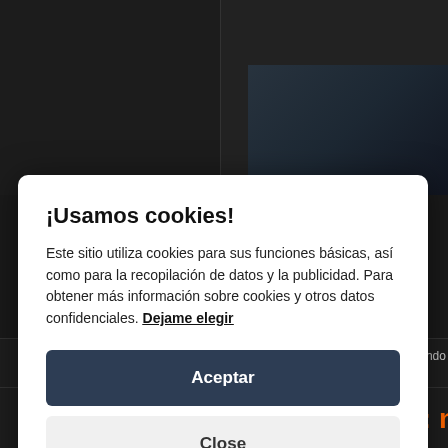[Figure (screenshot): Dark website background with two-column layout visible behind modal overlay]
¡Usamos cookies!
Este sitio utiliza cookies para sus funciones básicas, así como para la recopilación de datos y la publicidad. Para obtener más información sobre cookies y otros datos confidenciales. Dejame elegir
Aceptar
Close
Xanceda
Asunto: Re: PRIMAL FEAR preparando nuevo disco
DESCONECTADO
PRIMAL FEAR: nue